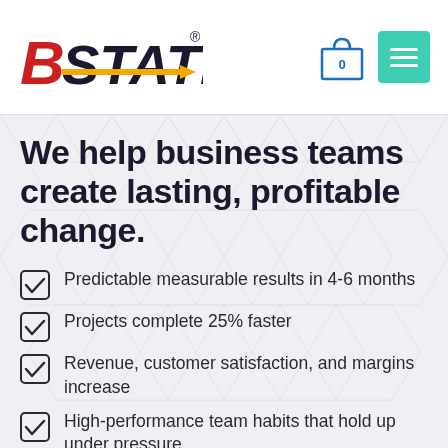[Figure (logo): B STATE logo with red italic B, dark italic STATE text, yellow arrow, and registered trademark symbol]
[Figure (other): Shopping bag icon with 0 and teal menu hamburger icon in header]
We help business teams create lasting, profitable change.
Predictable measurable results in 4-6 months
Projects complete 25% faster
Revenue, customer satisfaction, and margins increase
High-performance team habits that hold up under pressure